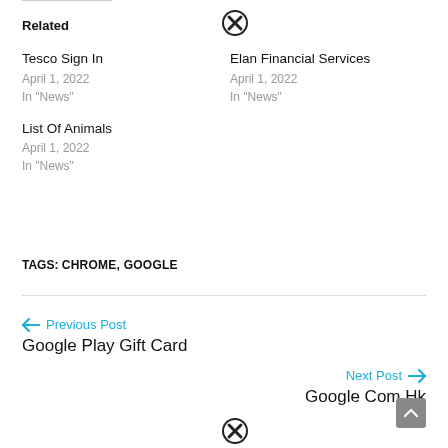Related
Tesco Sign In
April 1, 2022
In "News"
Elan Financial Services
April 1, 2022
In "News"
List Of Animals
April 1, 2022
In "News"
TAGS: CHROME, GOOGLE
← Previous Post
Google Play Gift Card
Next Post →
Google Com Hk